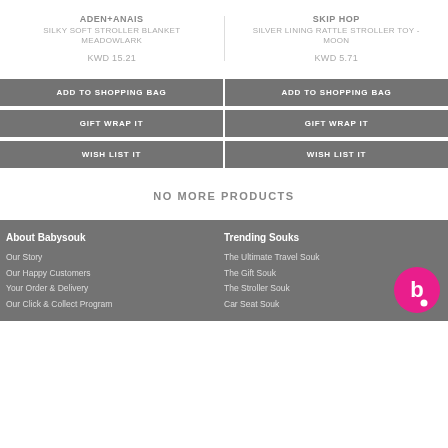ADEN+ANAIS
SILKY SOFT STROLLER BLANKET MEADOWLARK
KWD 15.21
SKIP HOP
SILVER LINING RATTLE STROLLER TOY - MOON
KWD 5.71
ADD TO SHOPPING BAG
ADD TO SHOPPING BAG
GIFT WRAP IT
GIFT WRAP IT
WISH LIST IT
WISH LIST IT
NO MORE PRODUCTS
About Babysouk
Our Story
Our Happy Customers
Your Order & Delivery
Our Click & Collect Program
Trending Souks
The Ultimate Travel Souk
The Gift Souk
The Stroller Souk
Car Seat Souk
[Figure (logo): Babysouk logo - white letter b on pink circle]